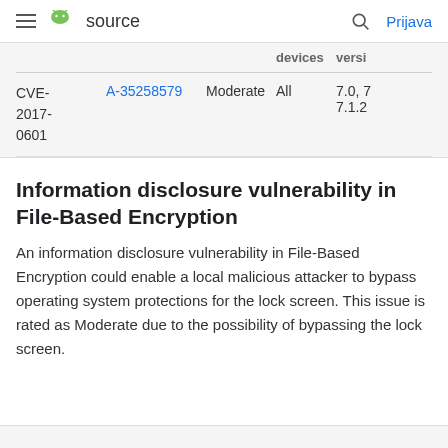≡ source  🔍 Prijava
|  |  |  | devices | versi... |
| --- | --- | --- | --- | --- |
| CVE-2017-0601 | A-35258579 | Moderate | All | 7.0, 7.1.2 |
Information disclosure vulnerability in File-Based Encryption
An information disclosure vulnerability in File-Based Encryption could enable a local malicious attacker to bypass operating system protections for the lock screen. This issue is rated as Moderate due to the possibility of bypassing the lock screen.